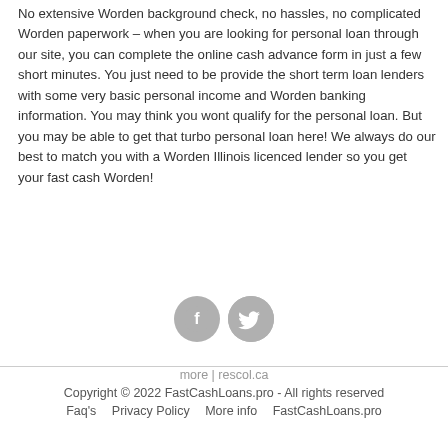No extensive Worden background check, no hassles, no complicated Worden paperwork – when you are looking for personal loan through our site, you can complete the online cash advance form in just a few short minutes. You just need to be provide the short term loan lenders with some very basic personal income and Worden banking information. You may think you wont qualify for the personal loan. But you may be able to get that turbo personal loan here! We always do our best to match you with a Worden Illinois licenced lender so you get your fast cash Worden!
[Figure (illustration): Two social media icon circles: Facebook (f) and Twitter (bird icon), both in grey]
more | rescol.ca
Copyright © 2022 FastCashLoans.pro - All rights reserved
Faq's   Privacy Policy   More info   FastCashLoans.pro